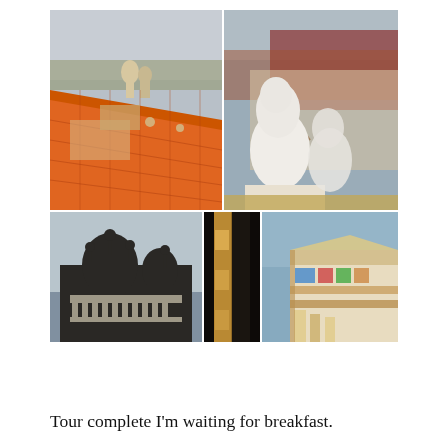[Figure (photo): Collage of four photos showing architectural details of an Indian palace/temple complex: top-left shows orange terracotta roof tiles with domed towers in background; top-right shows white decorative elephant/lion statues on a parapet with red-roofed buildings behind; bottom-left shows silhouetted ornamental dome and finials against sky with balustrade; bottom-middle shows a narrow vertical interior shot with golden lighting; bottom-right shows an ornately decorated corner of a tower with colorful tiles and carvings.]
Tour complete I'm waiting for breakfast.